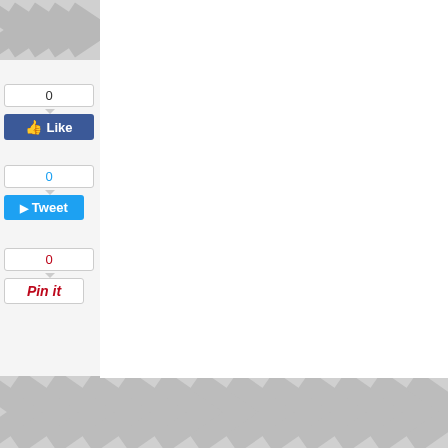[Figure (screenshot): Social sharing sidebar with Like (0), Tweet (0), Pin it (0), Share (0), Email buttons on the left side of the page. Chevron/arrow pattern decorative background at top-left and bottom of page.]
0
Like
0
Tweet
0
Pin it
TOTAL PAGEVIEWS
970,259
0
Shar
Email
idgets